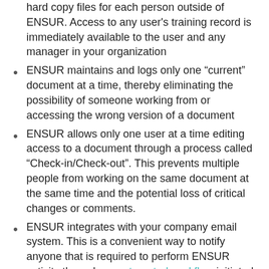hard copy files for each person outside of ENSUR. Access to any user's training record is immediately available to the user and any manager in your organization
ENSUR maintains and logs only one “current” document at a time, thereby eliminating the possibility of someone working from or accessing the wrong version of a document
ENSUR allows only one user at a time editing access to a document through a process called “Check-in/Check-out”. This prevents multiple people from working on the same document at the same time and the potential loss of critical changes or comments.
ENSUR integrates with your company email system. This is a convenient way to notify anyone that is required to perform ENSUR activity through an automated workflow initiated by ENSUR. When someone is assigned a task within the system,